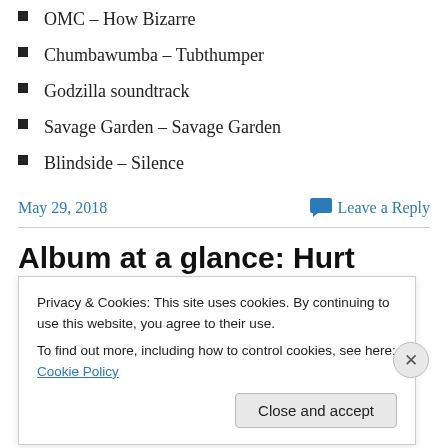OMC – How Bizarre
Chumbawumba – Tubthumper
Godzilla soundtrack
Savage Garden – Savage Garden
Blindside – Silence
May 29, 2018
Leave a Reply
Album at a glance: Hurt
Privacy & Cookies: This site uses cookies. By continuing to use this website, you agree to their use.
To find out more, including how to control cookies, see here: Cookie Policy
Close and accept